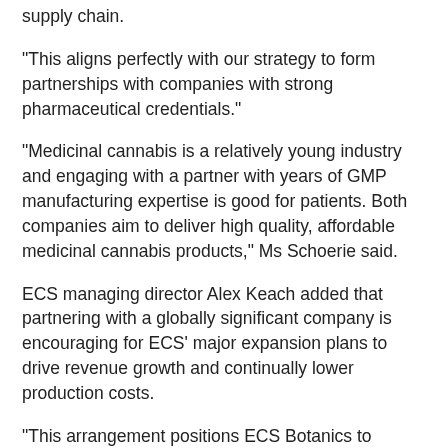supply chain.
“This aligns perfectly with our strategy to form partnerships with companies with strong pharmaceutical credentials.”
“Medicinal cannabis is a relatively young industry and engaging with a partner with years of GMP manufacturing expertise is good for patients. Both companies aim to deliver high quality, affordable medicinal cannabis products,” Ms Schoerie said.
ECS managing director Alex Keach added that partnering with a globally significant company is encouraging for ECS’ major expansion plans to drive revenue growth and continually lower production costs.
“This arrangement positions ECS Botanics to capture a greater share of the existing medicinal cannabis oil market in Australia and overseas,” he said.